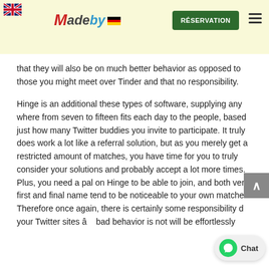[Figure (logo): MadeBy logo with German flag and UK flag icon in top-left, green RÉSERVATION button, and hamburger menu icon]
that they will also be on much better behavior as opposed to those you might meet over Tinder and that no responsibility.
Hinge is an additional these types of software, supplying any where from seven to fifteen fits each day to the people, based just how many Twitter buddies you invite to participate. It truly does work a lot like a referral solution, but as you merely get a restricted amount of matches, you have time for you to truly consider your solutions and probably accept a lot more times. Plus, you need a pal on Hinge to be able to join, and both very first and final name tend to be noticeable to your own matches. Therefore once again, there is certainly some responsibility d your Twitter sites â bad behavior is not will be effortlessly